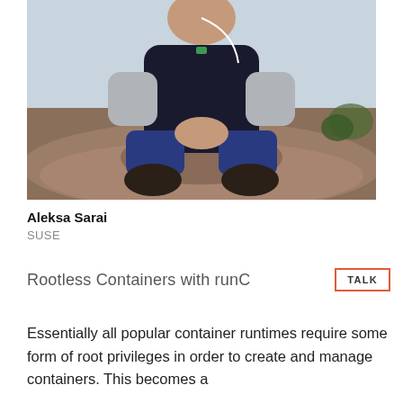[Figure (photo): Person sitting cross-legged on a large rock outdoors, wearing dark vest over grey long-sleeve shirt and blue pants, with white earphones. Background shows sky and some trees.]
Aleksa Sarai
SUSE
Rootless Containers with runC
Essentially all popular container runtimes require some form of root privileges in order to create and manage containers. This becomes a